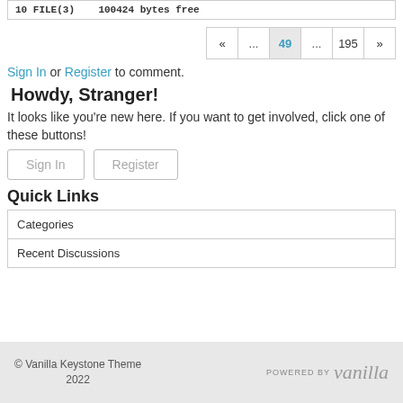10 FILE(3)    100424 bytes free
« ... 49 ... 195 »
Sign In or Register to comment.
Howdy, Stranger!
It looks like you're new here. If you want to get involved, click one of these buttons!
Sign In   Register
Quick Links
| Categories |
| Recent Discussions |
© Vanilla Keystone Theme 2022   POWERED BY Vanilla